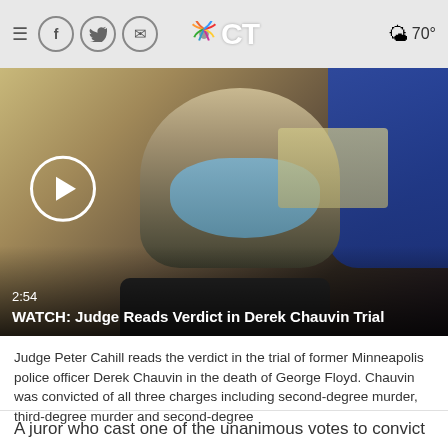NBC CT — social icons, logo, weather 70°
[Figure (screenshot): Video thumbnail showing Derek Chauvin wearing a blue face mask, seated in a courtroom. A play button circle is visible on the lower left. Overlay text reads: 2:54 / WATCH: Judge Reads Verdict in Derek Chauvin Trial]
Judge Peter Cahill reads the verdict in the trial of former Minneapolis police officer Derek Chauvin in the death of George Floyd. Chauvin was convicted of all three charges including second-degree murder, third-degree murder and second-degree
A juror who cast one of the unanimous votes to convict a